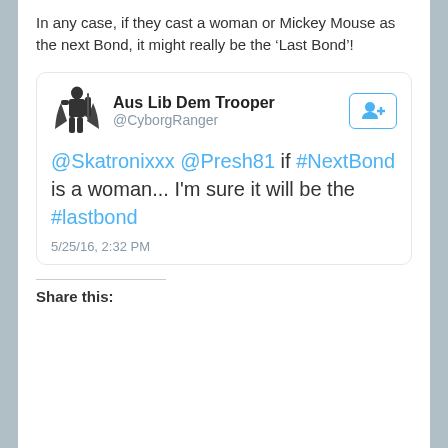In any case, if they cast a woman or Mickey Mouse as the next Bond, it might really be the ‘Last Bond’!
[Figure (screenshot): Twitter post card from user 'Aus Lib Dem Trooper' (@CyborgRanger) with a cyborg/warrior avatar and a follow button. Tweet text: '@Skatronixxx @Presh81 if #NextBond is a woman... I'm sure it will be the #lastbond'. Timestamp: 5/25/16, 2:32 PM.]
Share this: